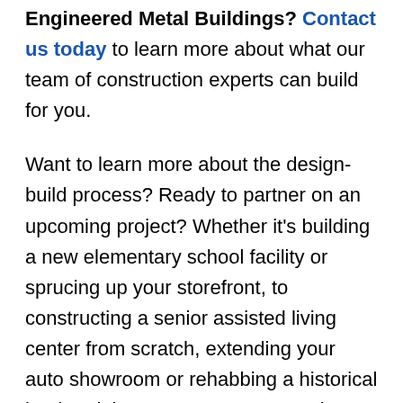Engineered Metal Buildings? Contact us today to learn more about what our team of construction experts can build for you.
Want to learn more about the design-build process? Ready to partner on an upcoming project? Whether it’s building a new elementary school facility or sprucing up your storefront, to constructing a senior assisted living center from scratch, extending your auto showroom or rehabbing a historical landmark into an apartment complex, we’re here to lend our services